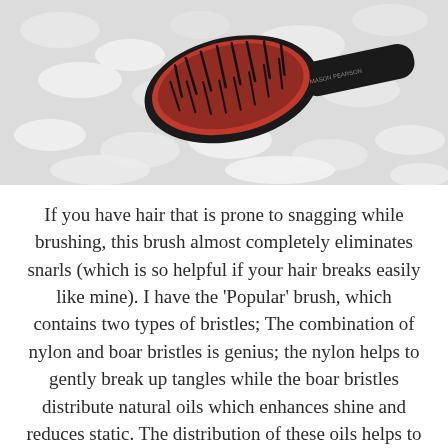[Figure (photo): A hair brush with red and black bristles resting on a white fluffy rug or fur surface. The brush appears to be a 'Popular' style brush. A brand label is partially visible in the upper right corner.]
If you have hair that is prone to snagging while brushing, this brush almost completely eliminates snarls (which is so helpful if your hair breaks easily like mine). I have the 'Popular' brush, which contains two types of bristles; The combination of nylon and boar bristles is genius; the nylon helps to gently break up tangles while the boar bristles distribute natural oils which enhances shine and reduces static. The distribution of these oils helps to naturally condition